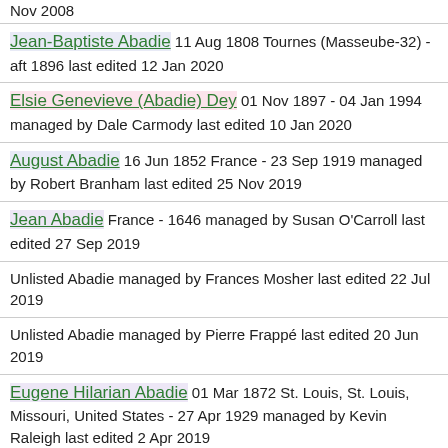Nov 2008
Jean-Baptiste Abadie 11 Aug 1808 Tournes (Masseube-32) - aft 1896 last edited 12 Jan 2020
Elsie Genevieve (Abadie) Dey 01 Nov 1897 - 04 Jan 1994 managed by Dale Carmody last edited 10 Jan 2020
August Abadie 16 Jun 1852 France - 23 Sep 1919 managed by Robert Branham last edited 25 Nov 2019
Jean Abadie France - 1646 managed by Susan O'Carroll last edited 27 Sep 2019
Unlisted Abadie managed by Frances Mosher last edited 22 Jul 2019
Unlisted Abadie managed by Pierre Frappé last edited 20 Jun 2019
Eugene Hilarian Abadie 01 Mar 1872 St. Louis, St. Louis, Missouri, United States - 27 Apr 1929 managed by Kevin Raleigh last edited 2 Apr 2019